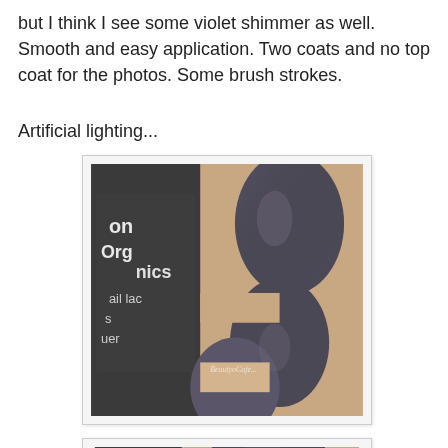but I think I see some violet shimmer as well. Smooth and easy application. Two coats and no top coat for the photos. Some brush strokes.
Artificial lighting...
[Figure (photo): Close-up photo of dark grey/charcoal nail polish with violet shimmer applied on fingernails, next to a nail polish bottle labeled 'on organics nail lacquer'. The nails appear square-shaped with a glossy finish showing some brush strokes.]
[Figure (photo): Partial second photo of the same nail polish swatch, cropped at the bottom of the page.]